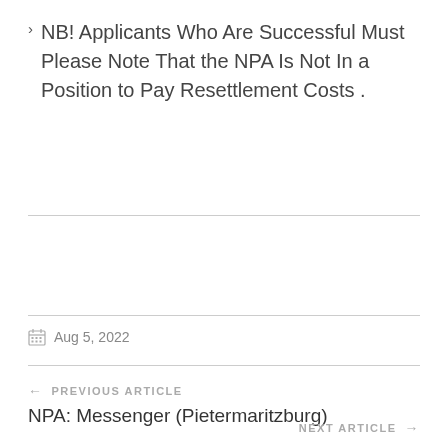NB! Applicants Who Are Successful Must Please Note That the NPA Is Not In a Position to Pay Resettlement Costs .
Aug 5, 2022
← PREVIOUS ARTICLE
NPA: Messenger (Pietermaritzburg)
NEXT ARTICLE →